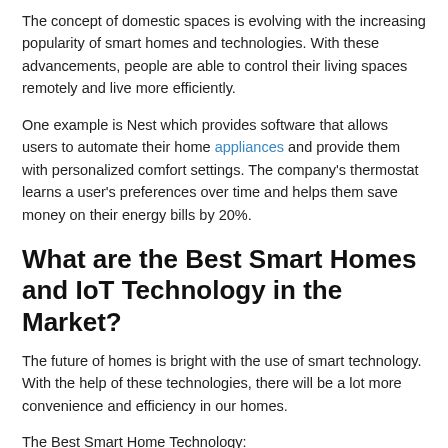The concept of domestic spaces is evolving with the increasing popularity of smart homes and technologies. With these advancements, people are able to control their living spaces remotely and live more efficiently.
One example is Nest which provides software that allows users to automate their home appliances and provide them with personalized comfort settings. The company's thermostat learns a user's preferences over time and helps them save money on their energy bills by 20%.
What are the Best Smart Homes and IoT Technology in the Market?
The future of homes is bright with the use of smart technology. With the help of these technologies, there will be a lot more convenience and efficiency in our homes.
The Best Smart Home Technology: